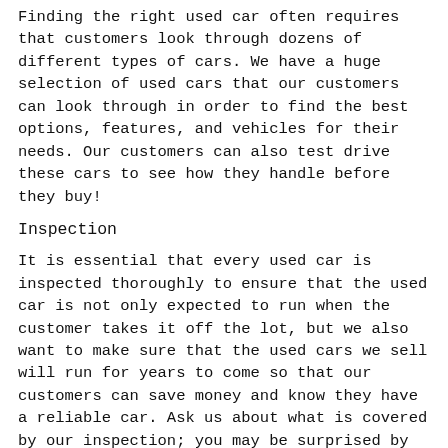Finding the right used car often requires that customers look through dozens of different types of cars. We have a huge selection of used cars that our customers can look through in order to find the best options, features, and vehicles for their needs. Our customers can also test drive these cars to see how they handle before they buy!
Inspection
It is essential that every used car is inspected thoroughly to ensure that the used car is not only expected to run when the customer takes it off the lot, but we also want to make sure that the used cars we sell will run for years to come so that our customers can save money and know they have a reliable car. Ask us about what is covered by our inspection; you may be surprised by how exhaustive it is!
Warranty
Even though we are confident that every used car in Milton we sell will hold up for years to